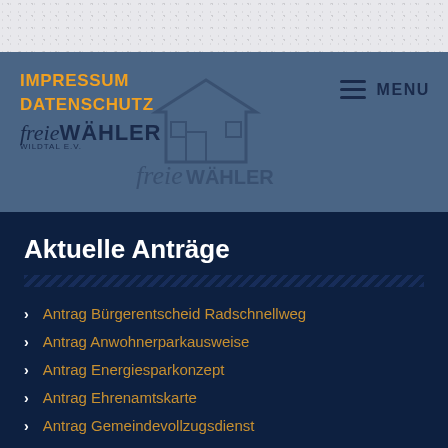IMPRESSUM | DATENSCHUTZ | MENU
[Figure (logo): Freie Wähler Wildtal e.V. logo with building icon and stylized script text]
Aktuelle Anträge
Antrag Bürgerentscheid Radschnellweg
Antrag Anwohnerparkausweise
Antrag Energiesparkonzept
Antrag Ehrenamtskarte
Antrag Gemeindevollzugsdienst